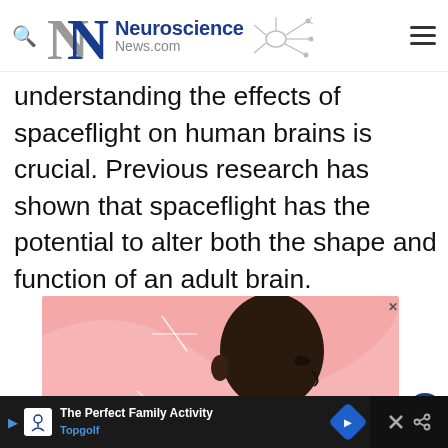Neuroscience News.com
understanding the effects of spaceflight on human brains is crucial. Previous research has shown that spaceflight has the potential to alter both the shape and function of an adult brain.
[Figure (illustration): Illustration of a person in side profile view with a pink swirling background suggesting brain activity, wearing a yellow top. An advertisement overlay with a close X button is visible.]
[Figure (screenshot): Bottom advertisement bar: Topgolf - The Perfect Family Activity, with play button, Topgolf shield logo, blue directional arrow, and social share icons on dark background.]